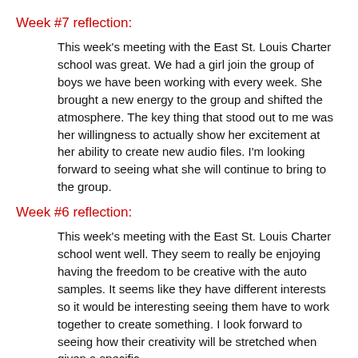Week #7 reflection:
This week’s meeting with the East St. Louis Charter school was great. We had a girl join the group of boys we have been working with every week. She brought a new energy to the group and shifted the atmosphere. The key thing that stood out to me was her willingness to actually show her excitement at her ability to create new audio files. I’m looking forward to seeing what she will continue to bring to the group.
Week #6 reflection:
This week’s meeting with the East St. Louis Charter school went well. They seem to really be enjoying having the freedom to be creative with the auto samples. It seems like they have different interests so it would be interesting seeing them have to work together to create something. I look forward to seeing how their creativity will be stretched when given a specific